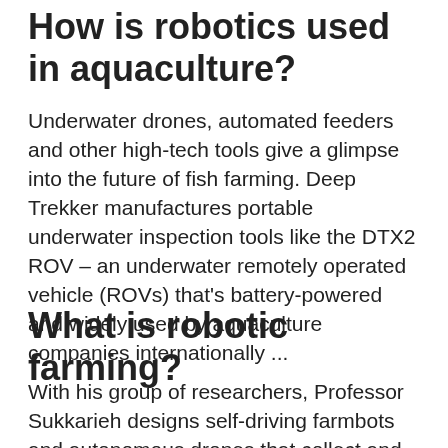How is robotics used in aquaculture?
Underwater drones, automated feeders and other high-tech tools give a glimpse into the future of fish farming. Deep Trekker manufactures portable underwater inspection tools like the DTX2 ROV – an underwater remotely operated vehicle (ROVs) that's battery-powered and widely used by aquaculture companies internationally ...
What is robotic farming?
With his group of researchers, Professor Sukkarieh designs self-driving farmbots and autonomous drones that collect and analyse